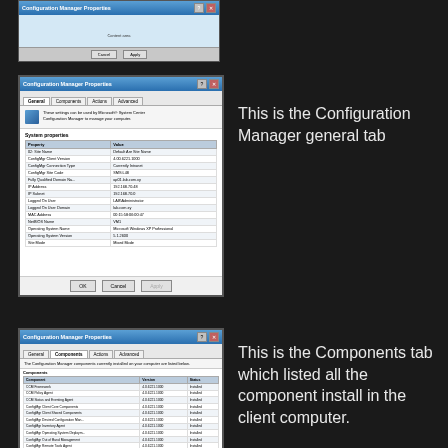[Figure (screenshot): Partially visible Windows dialog screenshot at top]
[Figure (screenshot): Configuration Manager Properties dialog - General tab showing system properties table with Property and Value columns]
This is the Configuration Manager general tab
[Figure (screenshot): Configuration Manager Properties dialog - Components tab showing list of installed components with Version and Status columns]
This is the Components tab which listed all the component install in the client computer.